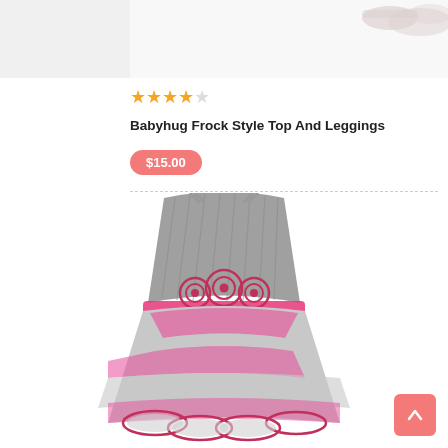[Figure (photo): Top portion of a product photo showing white shoes/accessories on a light background]
[Figure (other): Star rating showing 4 out of 5 stars in gold/yellow]
Babyhug Frock Style Top And Leggings
$15.00
[Figure (photo): Pink and grey layered tulle dress with spaghetti straps, rose embellishments at waist, and ruffled hem]